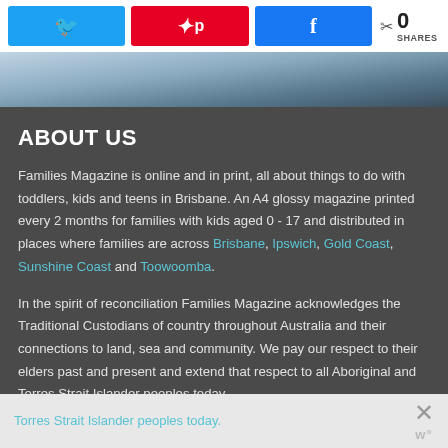[Figure (other): Social share buttons row: Twitter (blue), Pinterest (red), Facebook (blue), and share count showing 0 SHARES]
[Figure (photo): Partial image strip showing a blue/grey toned background image]
ABOUT US
Families Magazine is online and in print, all about things to do with toddlers, kids and teens in Brisbane. An A4 glossy magazine printed every 2 months for families with kids aged 0 - 17 and distributed in places where families are across Brisbane, Ipswich, Gold Coast, Sunshine Coast and Toowoomba.
In the spirit of reconciliation Families Magazine acknowledges the Traditional Custodians of country throughout Australia and their connections to land, sea and community. We pay our respect to their elders past and present and extend that respect to all Aboriginal and Torres Strait Islander peoples today.